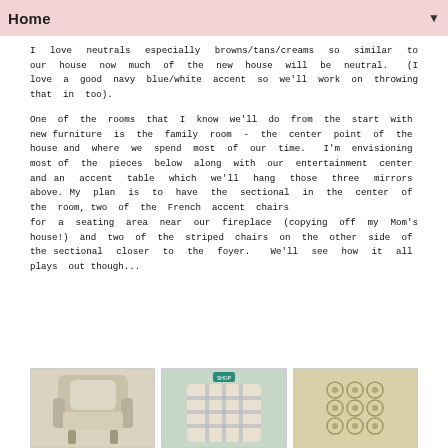Home
I love neutrals especially browns/tans/creams so similar to our house now much of the new house will be neutral.  (I love a good navy blue/white accent so we'll work on throwing that in too).
One of the rooms that I know we'll do from the start with new furniture is the family room - the center point of the house and where we spend most of our time.  I'm envisioning most of the pieces below along with our entertainment center and an accent table which we'll hang those three mirrors above.  My plan is to have the sectional in the center of the room, two of the French accent chairs for a seating area near our fireplace (copying off my Mom's house!) and two of the striped chairs on the other side of the sectional closer to the foyer.  We'll see how it all plays out though...
[Figure (photo): Three product images showing: a wingback accent chair, a plaid/checkered throw pillow, and a patterned fabric or cushion]
[Figure (photo): Plaid checkered pillow]
[Figure (photo): Patterned fabric or pillow with geometric design]